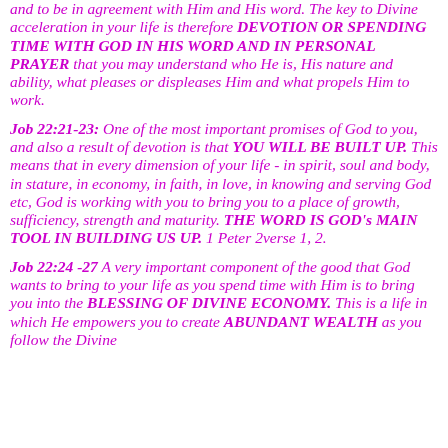and to be in agreement with Him and His word. The key to Divine acceleration in your life is therefore DEVOTION OR SPENDING TIME WITH GOD IN HIS WORD AND IN PERSONAL PRAYER that you may understand who He is, His nature and ability, what pleases or displeases Him and what propels Him to work.
Job 22:21-23: One of the most important promises of God to you, and also a result of devotion is that YOU WILL BE BUILT UP. This means that in every dimension of your life - in spirit, soul and body, in stature, in economy, in faith, in love, in knowing and serving God etc, God is working with you to bring you to a place of growth, sufficiency, strength and maturity. THE WORD IS GOD's MAIN TOOL IN BUILDING US UP. 1 Peter 2verse 1, 2.
Job 22:24 -27 A very important component of the good that God wants to bring to your life as you spend time with Him is to bring you into the BLESSING OF DIVINE ECONOMY. This is a life in which He empowers you to create ABUNDANT WEALTH as you follow the Divine...